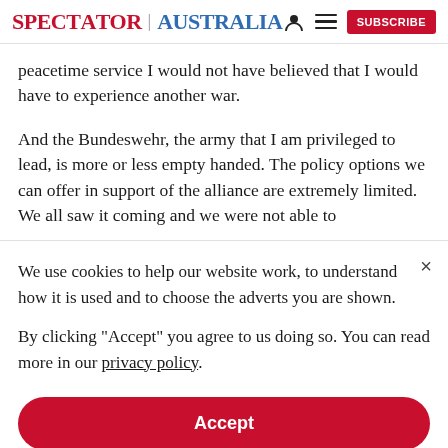SPECTATOR | AUSTRALIA  [person icon]  [menu icon]  SUBSCRIBE
peacetime service I would not have believed that I would have to experience another war.
And the Bundeswehr, the army that I am privileged to lead, is more or less empty handed. The policy options we can offer in support of the alliance are extremely limited. We all saw it coming and we were not able to
We use cookies to help our website work, to understand how it is used and to choose the adverts you are shown.
By clicking "Accept" you agree to us doing so. You can read more in our privacy policy.